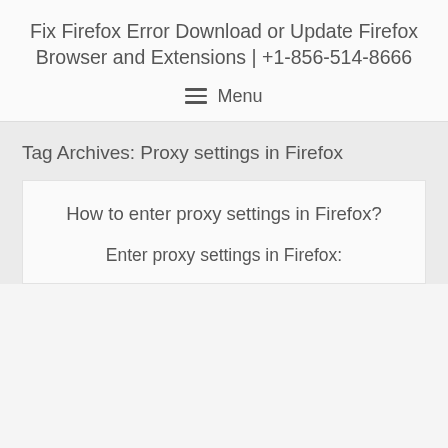Fix Firefox Error Download or Update Firefox Browser and Extensions | +1-856-514-8666
Menu
Tag Archives: Proxy settings in Firefox
How to enter proxy settings in Firefox?
Enter proxy settings in Firefox: